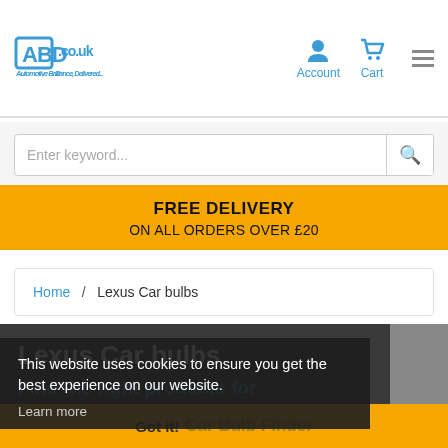[Figure (screenshot): ABD.co.uk logo with tagline 'Automotive Brilliance, Delivered...' in blue, with Account and Cart icons and hamburger menu in header]
Enter keyword...
FREE DELIVERY
ON ALL ORDERS OVER £20
Home / Lexus Car bulbs
Lexus Car bulbs
This website uses cookies to ensure you get the best experience on our website.
Learn more
Find the right products for your vehicle...
Got it!
Car Bulb Finder